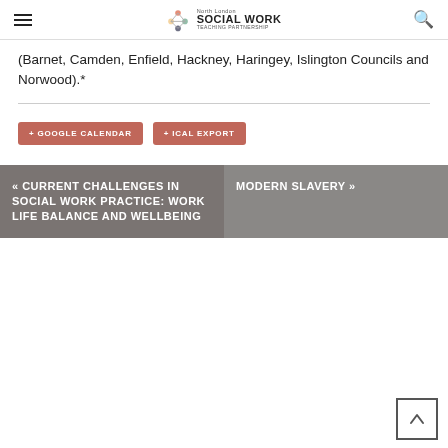North London Social Work Teaching Partnership
(Barnet, Camden, Enfield, Hackney, Haringey, Islington Councils and Norwood).*
+ GOOGLE CALENDAR
+ ICAL EXPORT
« CURRENT CHALLENGES IN SOCIAL WORK PRACTICE: WORK LIFE BALANCE AND WELLBEING
MODERN SLAVERY »